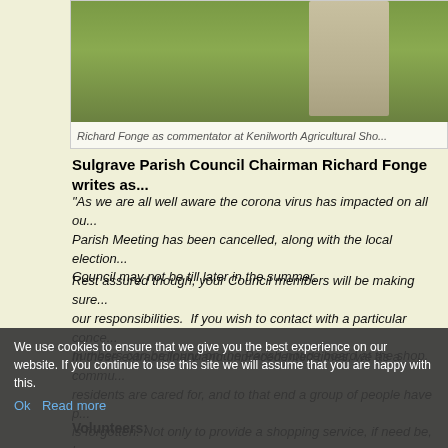[Figure (photo): Photo of Richard Fonge as commentator at Kenilworth Agricultural Show, showing a person standing in a grassy field]
Richard Fonge as commentator at Kenilworth Agricultural Sho...
Sulgrave Parish Council Chairman Richard Fonge writes as...
“As we are all well aware the corona virus has impacted on all ou... Parish Meeting has been cancelled, along with the local election... Council may not be till later in the summer.
Rest assured though, your Council members will be making sure... our responsibilities. If you wish to contact with a particular conce... numbers can be found on the Parish notice board at the shop.
In these extraordinary and unprecedented times, we as a commu... residents are cared for, and to that end a group of people have p... is forgotten. Not only to provide a shopping service, if need be, b... be very lonely for many, so a phone call from a friend or neighbo... realise how importan...one was to those livin...
Volunteers: